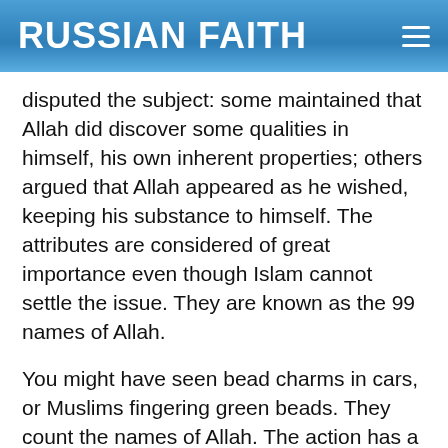RUSSIAN FAITH
disputed the subject: some maintained that Allah did discover some qualities in himself, his own inherent properties; others argued that Allah appeared as he wished, keeping his substance to himself. The attributes are considered of great importance even though Islam cannot settle the issue. They are known as the 99 names of Allah.
You might have seen bead charms in cars, or Muslims fingering green beads. They count the names of Allah. The action has a magic sense though Sufis17 think it is a way to heat up one's love for Allah. Anyway, this is evidence of borrowing from Christianity.